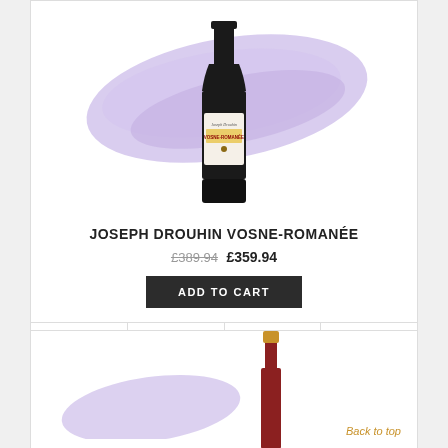[Figure (photo): Wine bottle of Joseph Drouhin Vosne-Romanée with purple brush stroke background]
JOSEPH DROUHIN VOSNE-ROMANÉE
£389.94 £359.94
ADD TO CART
DETAILS  WISHLIST  COMPARE  SHARE
[Figure (photo): Bottom portion of a second wine bottle with purple brush stroke and golden foil cap, with Back to top link]